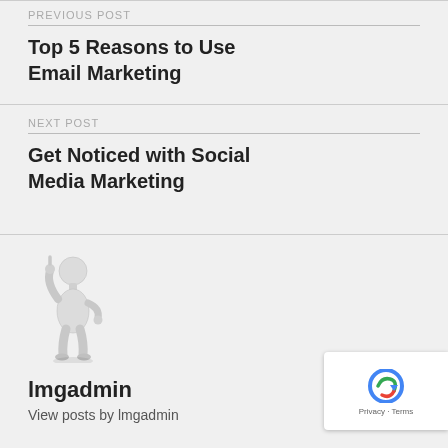PREVIOUS POST
Top 5 Reasons to Use Email Marketing
NEXT POST
Get Noticed with Social Media Marketing
[Figure (illustration): 3D rendered white figure/person raising one finger, standing pose]
lmgadmin
View posts by lmgadmin